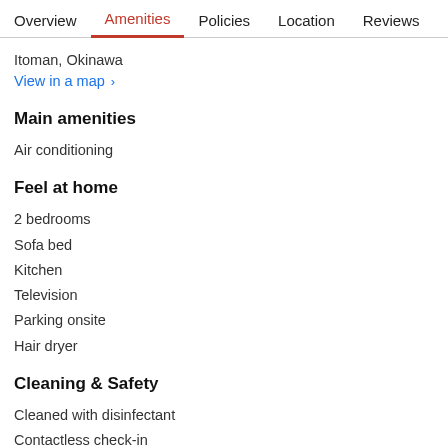Overview  Amenities  Policies  Location  Reviews
Itoman, Okinawa
View in a map  >
Main amenities
Air conditioning
Feel at home
2 bedrooms
Sofa bed
Kitchen
Television
Parking onsite
Hair dryer
Cleaning & Safety
Cleaned with disinfectant
Contactless check-in